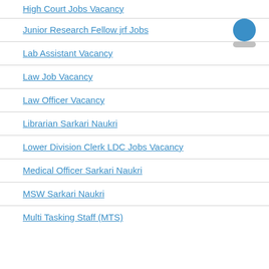High Court Jobs Vacancy
Junior Research Fellow jrf Jobs
Lab Assistant Vacancy
Law Job Vacancy
Law Officer Vacancy
Librarian Sarkari Naukri
Lower Division Clerk LDC Jobs Vacancy
Medical Officer Sarkari Naukri
MSW Sarkari Naukri
Multi Tasking Staff (MTS)